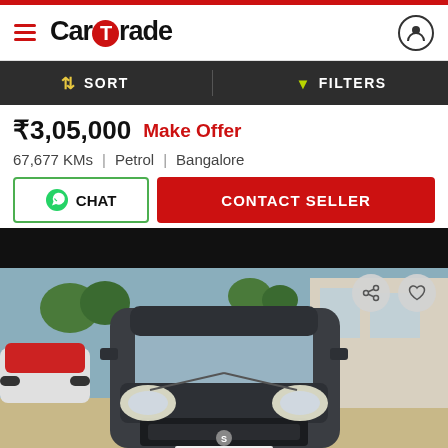CarTrade
SORT   FILTERS
₹3,05,000  Make Offer
67,677 KMs  |  Petrol  |  Bangalore
CHAT  CONTACT SELLER
[Figure (photo): Front view of a dark grey Maruti Suzuki Alto hatchback parked in a dealership lot. Other cars visible in background. Car has 'The Cars Collective' branding/plate on hood.]